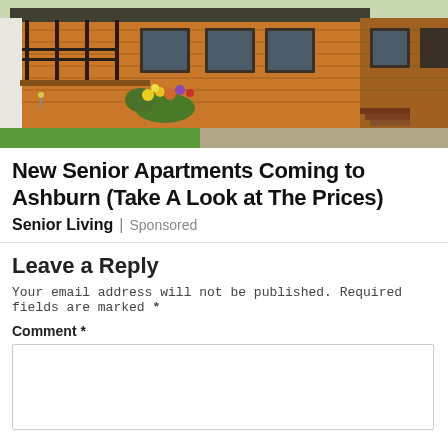[Figure (photo): Photo of a wooden single-story house with brown horizontal siding, black railing on a front porch, colorful flower garden at the entrance, paved stone walkway, green lawn and gravel driveway.]
New Senior Apartments Coming to Ashburn (Take A Look at The Prices)
Senior Living | Sponsored
Leave a Reply
Your email address will not be published. Required fields are marked *
Comment *